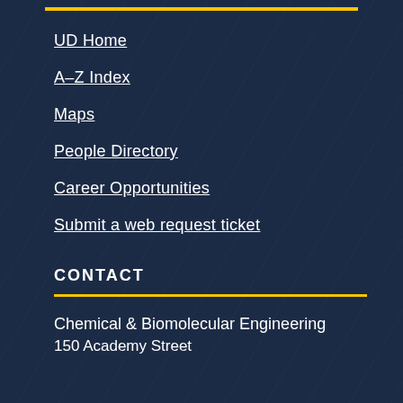UD Home
A–Z Index
Maps
People Directory
Career Opportunities
Submit a web request ticket
CONTACT
Chemical & Biomolecular Engineering
150 Academy Street